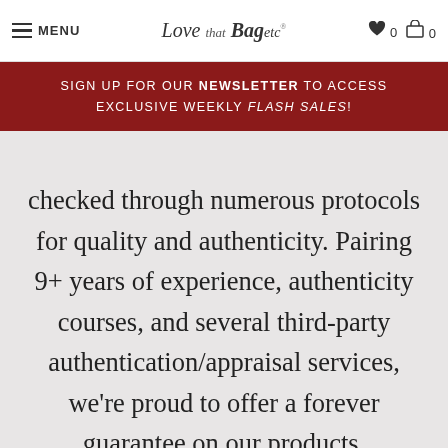MENU  Love that Bag etc  0  0
SIGN UP FOR OUR NEWSLETTER TO ACCESS EXCLUSIVE WEEKLY FLASH SALES!
checked through numerous protocols for quality and authenticity. Pairing 9+ years of experience, authenticity courses, and several third-party authentication/appraisal services, we're proud to offer a forever guarantee on our products.